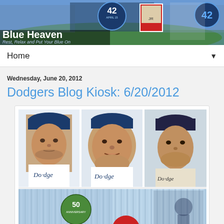[Figure (photo): Blue Heaven blog header banner with Dodgers imagery, number 42 Jackie Robinson tribute badge, baseball stadium background]
Blue Heaven
Rest, Relax and Put Your Blue On
Home ▼
Wednesday, June 20, 2012
Dodgers Blog Kiosk: 6/20/2012
[Figure (photo): Composite image of three Dodgers baseball players in uniform on collector cups (top), and a bottom image showing a Dodgers 50th Anniversary Collector Cup sponsored by Heineken and Coca-Cola with the label 'COLLECTOR CUP 1 2 3 4']